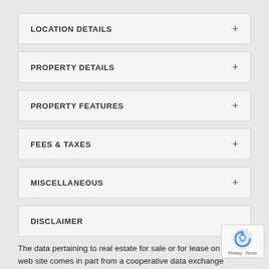LOCATION DETAILS
PROPERTY DETAILS
PROPERTY FEATURES
FEES & TAXES
MISCELLANEOUS
DISCLAIMER
The data pertaining to real estate for sale or for lease on this web site comes in part from a cooperative data exchange program of the multiple listing service (MLS) in which this real estate firm (Broker) participates. The properties displayed may not be all of the properties in the MLS's database, or all of the properties listed with